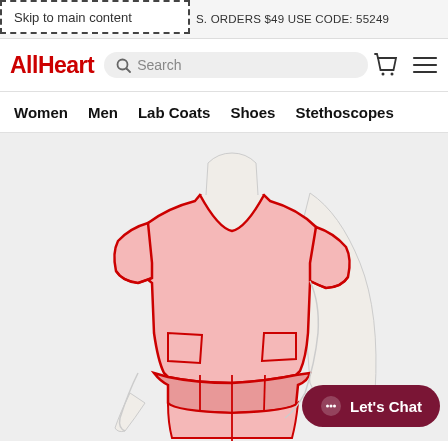Skip to main content
S. ORDERS $49 USE CODE: 55249
AllHeart Search
Women  Men  Lab Coats  Shoes  Stethoscopes
[Figure (illustration): Illustration of a female mannequin torso wearing a pink v-neck scrub top with short sleeves and two front pockets, along with a contrast waistband/pant top. The illustration uses pink fill with red outline on a light gray background.]
Let's Chat